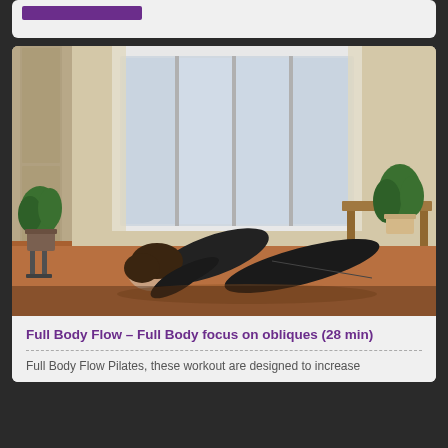[Figure (screenshot): Top card with purple brand bar on light gray background]
[Figure (photo): Video thumbnail showing a woman in black workout clothes doing a plank/pilates exercise on the floor in a bright room with white curtained windows and potted plants]
Full Body Flow – Full Body focus on obliques (28 min)
Full Body Flow Pilates, these workout are designed to increase